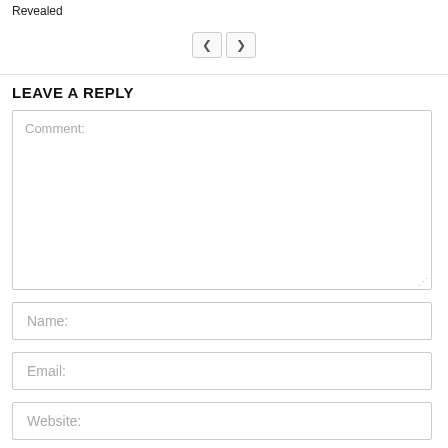Revealed
[Figure (other): Navigation buttons with left and right arrows]
LEAVE A REPLY
Comment:
Name:
Email:
Website: